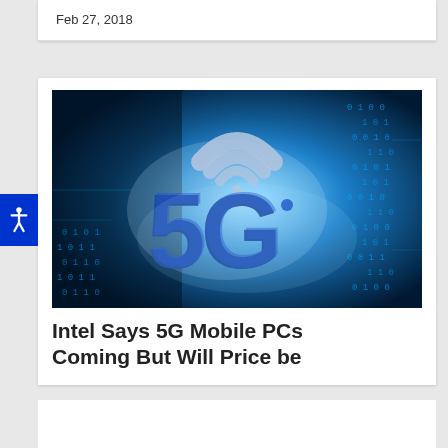Feb 27, 2018
[Figure (photo): Digital illustration of 5G technology concept with glowing blue background, binary code, circuit patterns, and large '5G' text with WiFi signal icon]
Intel Says 5G Mobile PCs Coming But Will Price be